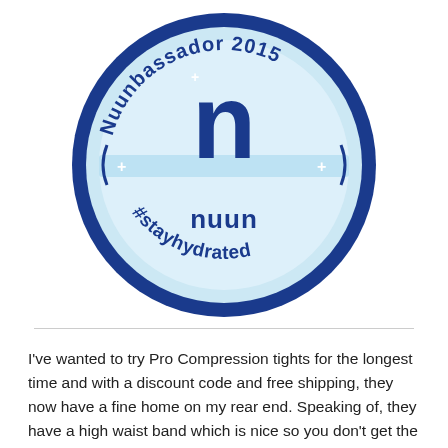[Figure (logo): Nuunbassador 2015 circular badge logo with 'n' character, 'nuun' wordmark, and '#stayhydrated' text. Dark blue outer ring with light blue inner circle.]
I've wanted to try Pro Compression tights for the longest time and with a discount code and free shipping, they now have a fine home on my rear end. Speaking of, they have a high waist band which is nice so you don't get the muffin top and the design and thickness are dividing somewhat